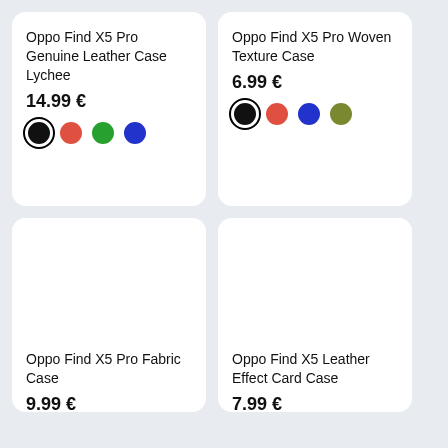Oppo Find X5 Pro Genuine Leather Case Lychee
14.99 €
Oppo Find X5 Pro Woven Texture Case
6.99 €
[Figure (other): Product image area (blank/white) for Oppo Find X5 Pro Fabric Case]
Oppo Find X5 Pro Fabric Case
9.99 €
[Figure (other): Product image area (blank/white) for Oppo Find X5 Leather Effect Card Case]
Oppo Find X5 Leather Effect Card Case
7.99 €